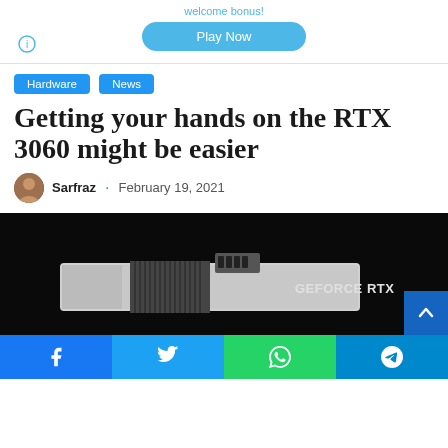welcome bonus!
Play Now
Hardware · News
Getting your hands on the RTX 3060 might be easier
Sarfraz · February 19, 2021
[Figure (photo): NVIDIA GeForce RTX graphics card on black background]
[Figure (other): Social share bar with Facebook, Twitter, WhatsApp, and Telegram buttons]